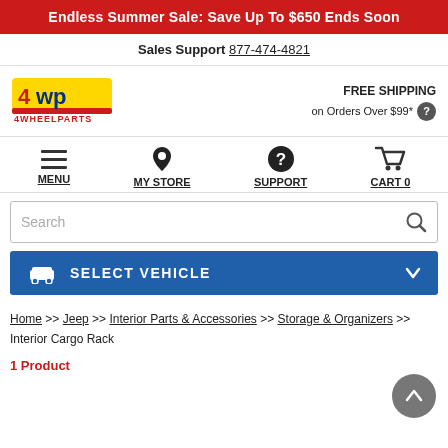Endless Summer Sale: Save Up To $650 Ends Soon
Sales Support 877-474-4821
[Figure (logo): 4WP 4WheelParts logo in yellow and red]
FREE SHIPPING on Orders Over $99* ?
MENU  MY STORE  SUPPORT  CART 0
Search
SELECT VEHICLE
Home >> Jeep >> Interior Parts & Accessories >> Storage & Organizers >> Interior Cargo Rack